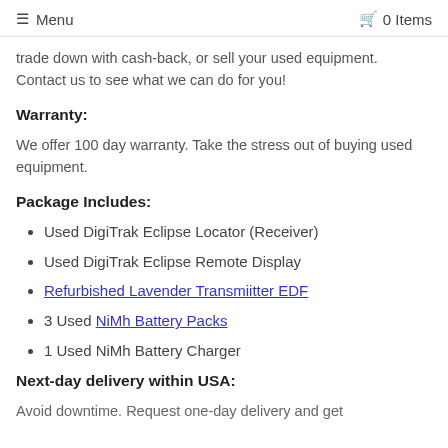≡ Menu   🛒 0 Items
trade down with cash-back, or sell your used equipment. Contact us to see what we can do for you!
Warranty:
We offer 100 day warranty. Take the stress out of buying used equipment.
Package Includes:
Used DigiTrak Eclipse Locator (Receiver)
Used DigiTrak Eclipse Remote Display
Refurbished Lavender Transmiitter EDF
3 Used NiMh Battery Packs
1 Used NiMh Battery Charger
Next-day delivery within USA:
Avoid downtime. Request one-day delivery and get